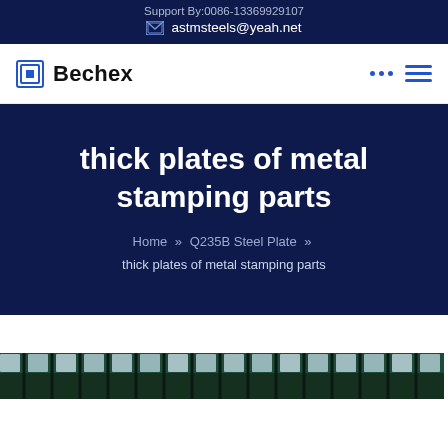Support By:0086-13369929107
astmsteels@yeah.net
[Figure (logo): Bechex company logo with square icon]
thick plates of metal stamping parts
Home » Q235B Steel Plate » thick plates of metal stamping parts
[Figure (photo): Interior of a steel warehouse or factory with roof skylights visible]